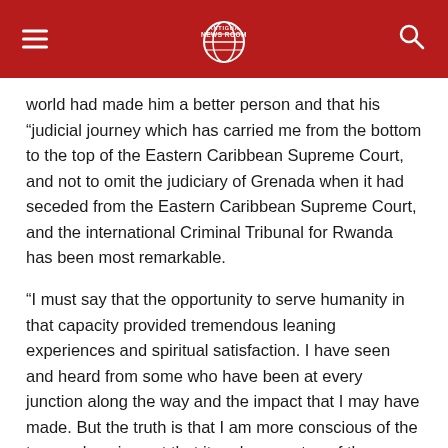Antigua News Room
world had made him a better person and that his “judicial journey which has carried me from the bottom to the top of the Eastern Caribbean Supreme Court,  and not to omit the judiciary of Grenada when it had seceded from the Eastern Caribbean Supreme Court, and the international Criminal Tribunal for Rwanda has been most remarkable.
“I must say that the opportunity to serve humanity in that capacity provided tremendous leaning experiences and spiritual satisfaction. I have seen and heard from some who have been at every junction along the way and the impact that I may have made. But the truth is that I am more conscious of the tremendous impact that it and every step of the way has made on me.”